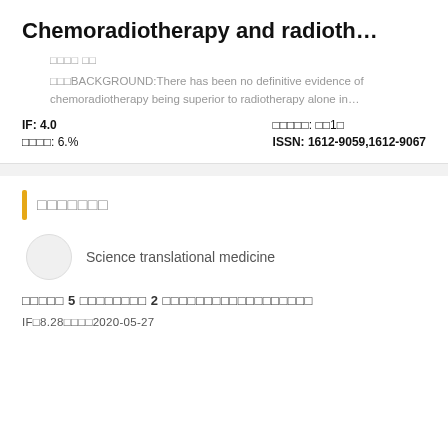Chemoradiotherapy and radioth…
□□□□ □□
□□□BACKGROUND:There has been no definitive evidence of chemoradiotherapy being superior to radiotherapy alone in…
IF: 4.0
□□□□: 6.%
□□□□□: □□1□
ISSN: 1612-9059,1612-9067
□□□□□□□
Science translational medicine
□□□□□ 5 □□□□□□□□ 2 □□□□□□□□□□□□□□□□□□
IF□8.28□□□□2020-05-27